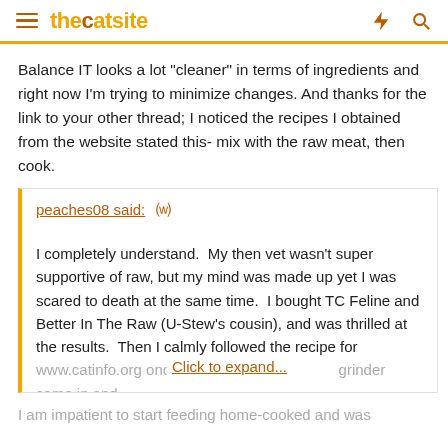thecatsite
Balance IT looks a lot "cleaner" in terms of ingredients and right now I'm trying to minimize changes. And thanks for the link to your other thread; I noticed the recipes I obtained from the website stated this- mix with the raw meat, then cook.
peaches08 said: ↑

I completely understand.  My then vet wasn't super supportive of raw, but my mind was made up yet I was scared to death at the same time.  I bought TC Feline and Better In The Raw (U-Stew's cousin), and was thrilled at the results.  Then I calmly followed the recipe for www.catinfo.org once my grinder came in and
Click to expand...
I am impatient to start feeding home-cooked and was